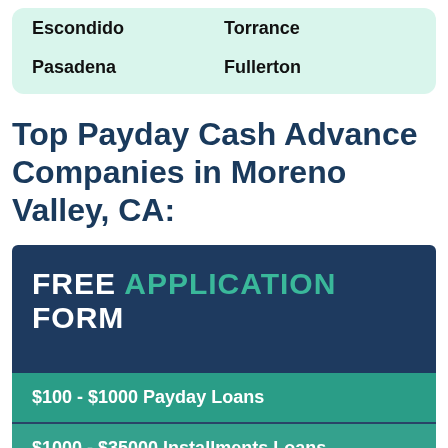Escondido
Torrance
Pasadena
Fullerton
Top Payday Cash Advance Companies in Moreno Valley, CA:
[Figure (infographic): Dark blue promotional box with text 'FREE APPLICATION FORM' where APPLICATION is in teal, followed by two teal bars: '$100 - $1000 Payday Loans' and '$1000 - $35000 Installments Loans']